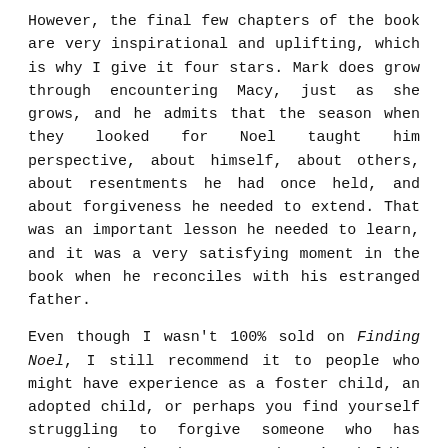However, the final few chapters of the book are very inspirational and uplifting, which is why I give it four stars. Mark does grow through encountering Macy, just as she grows, and he admits that the season when they looked for Noel taught him perspective, about himself, about others, about resentments he had once held, and about forgiveness he needed to extend. That was an important lesson he needed to learn, and it was a very satisfying moment in the book when he reconciles with his estranged father.
Even though I wasn't 100% sold on Finding Noel, I still recommend it to people who might have experience as a foster child, an adopted child, or perhaps you find yourself struggling to forgive someone who has wronged you in the past and you're holding onto resentment. My not loving this story simply means that it wasn't meant for me. Maybe it's meant for you.
The following quote is by Mark, the last paragraph of the book.
And perhaps, after all the songs and poems and stories of the season, Christmas is really no more than that - humanity's search for the familiar. Every year we bring out the same